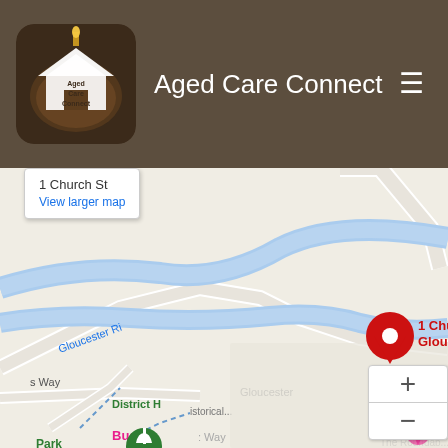[Figure (logo): Aged Care Connect app logo — circular image with house icon on dark background]
Aged Care Connect
[Figure (map): Google Maps screenshot showing location pin at 1 Church St, Gloucester NSW 2422, with Gloucester River visible and surrounding streets including Gloucester Rd and Bucket Way. Map popup shows '1 Church St' and 'View larger map' link. Zoom controls (+/-) visible bottom right.]